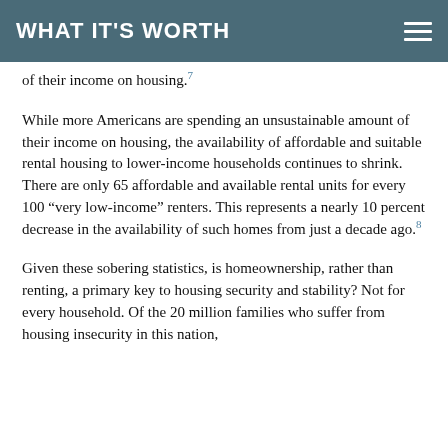WHAT IT'S WORTH
of their income on housing.7
While more Americans are spending an unsustainable amount of their income on housing, the availability of affordable and suitable rental housing to lower-income households continues to shrink. There are only 65 affordable and available rental units for every 100 “very low-income” renters. This represents a nearly 10 percent decrease in the availability of such homes from just a decade ago.8
Given these sobering statistics, is homeownership, rather than renting, a primary key to housing security and stability? Not for every household. Of the 20 million families who suffer from housing insecurity in this nation,